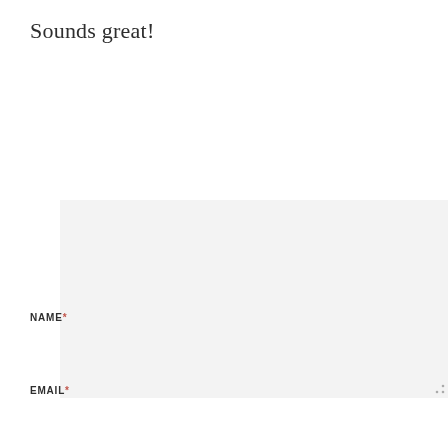Sounds great!
[Figure (other): Large empty textarea/text input box with light gray background and resize handle at bottom right]
NAME*
[Figure (other): Single-line text input box with light gray background for NAME field]
EMAIL*